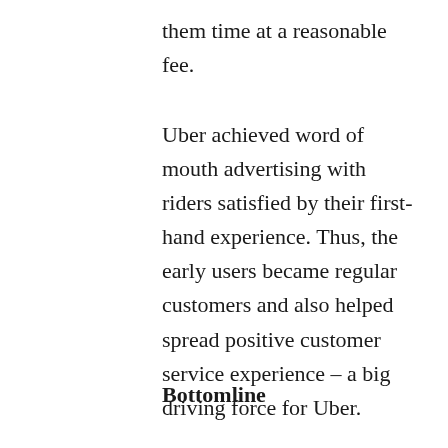them time at a reasonable fee.
Uber achieved word of mouth advertising with riders satisfied by their first-hand experience. Thus, the early users became regular customers and also helped spread positive customer service experience – a big driving force for Uber.
Bottomline